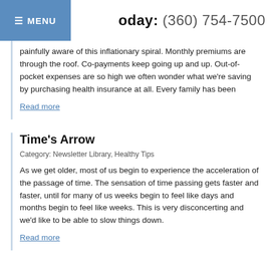≡ MENU   oday: (360) 754-7500
painfully aware of this inflationary spiral. Monthly premiums are through the roof. Co-payments keep going up and up. Out-of-pocket expenses are so high we often wonder what we're saving by purchasing health insurance at all. Every family has been
Read more
Time's Arrow
Category: Newsletter Library, Healthy Tips
As we get older, most of us begin to experience the acceleration of the passage of time. The sensation of time passing gets faster and faster, until for many of us weeks begin to feel like days and months begin to feel like weeks. This is very disconcerting and we'd like to be able to slow things down.
Read more